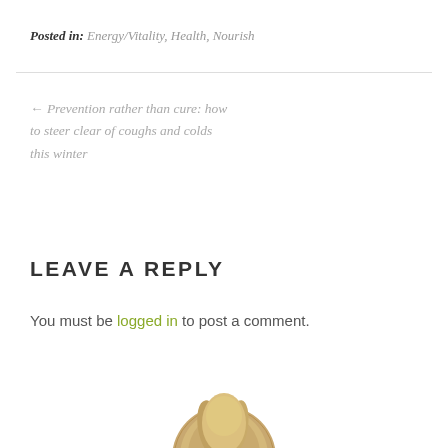Posted in: Energy/Vitality, Health, Nourish
← Prevention rather than cure: how to steer clear of coughs and colds this winter
LEAVE A REPLY
You must be logged in to post a comment.
[Figure (photo): Circular avatar/profile photo showing top of a person's head with blonde/light brown hair, cropped at bottom of image]